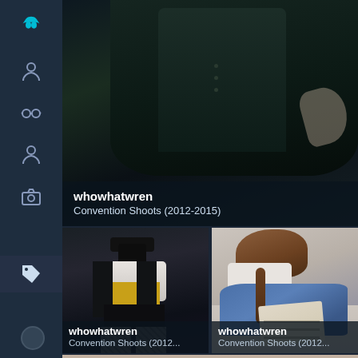[Figure (screenshot): Mobile app screenshot showing a photo gallery/portfolio app with a dark navy sidebar containing icons (logo, person, glasses, person, camera, tag), and three cosplay photo thumbnails labeled with username 'whowhatwren' and album 'Convention Shoots (2012-2015)'. Top image shows a dark-cloaked figure. Middle row shows two thumbnails: left is Zatanna cosplay (black tuxedo, yellow vest, fishnet tights), right is Belle cosplay (blue dress, reading on floor). Bottom partial image shows a beige/pink background.]